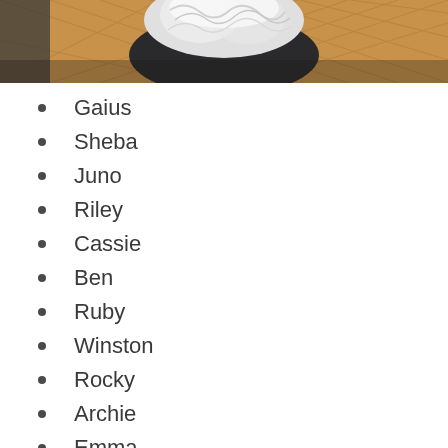[Figure (photo): A dog with white/silver fluffy fur viewed from above, sitting on a herringbone wood floor. A person's hand/arm is partially visible on the left.]
Gaius
Sheba
Juno
Riley
Cassie
Ben
Ruby
Winston
Rocky
Archie
Emma
Cain